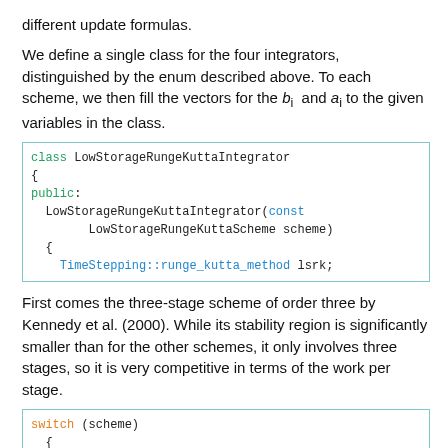different update formulas.
We define a single class for the four integrators, distinguished by the enum described above. To each scheme, we then fill the vectors for the b_i and a_i to the given variables in the class.
[Figure (screenshot): Code block showing class LowStorageRungeKuttaIntegrator with public constructor taking const LowStorageRungeKuttaScheme scheme, and TimeStepping::runge_kutta_method lsrk;]
First comes the three-stage scheme of order three by Kennedy et al. (2000). While its stability region is significantly smaller than for the other schemes, it only involves three stages, so it is very competitive in terms of the work per stage.
[Figure (screenshot): Code block showing switch (scheme) { case stage_3_order_3: { lsrk = TimeStepping::LOW_STORAGE_RK_STAGE3_ORDER3; break; }]